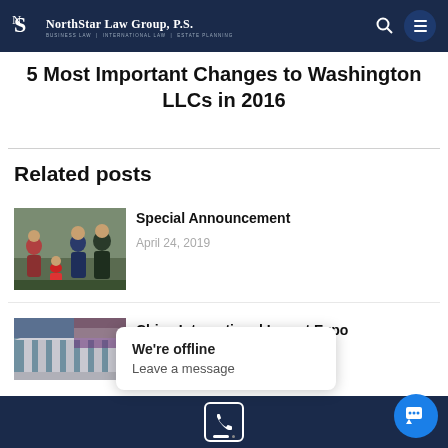NorthStar Law Group, P.S. | Business Law | International Law | Estate Planning
5 Most Important Changes to Washington LLCs in 2016
Related posts
[Figure (photo): Family group photo outdoors]
Special Announcement
April 24, 2019
[Figure (photo): Building or government structure photo]
China International Import Expo
We're offline
Leave a message
Bottom navigation bar with phone icon